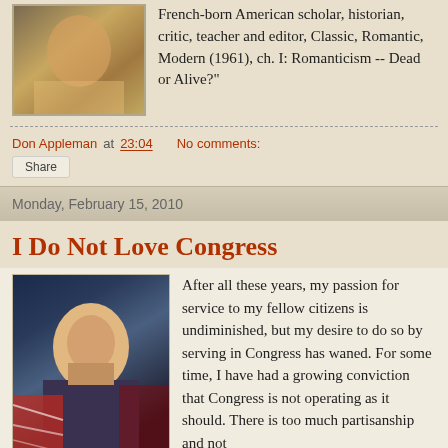French-born American scholar, historian, critic, teacher and editor, Classic, Romantic, Modern (1961), ch. I: Romanticism -- Dead or Alive?"
Don Appleman at 23:04   No comments:
Share
Monday, February 15, 2010
I Do Not Love Congress
After all these years, my passion for service to my fellow citizens is undiminished, but my desire to do so by serving in Congress has waned. For some time, I have had a growing conviction that Congress is not operating as it should. There is too much partisanship and not